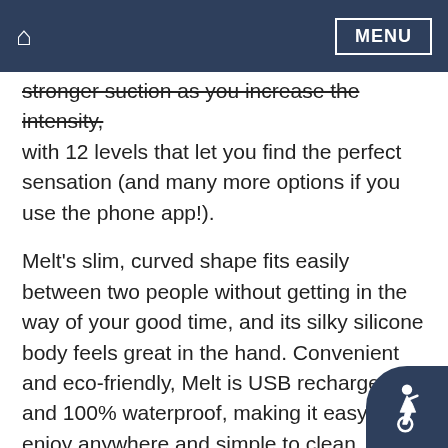🏠 MENU
stronger suction as you increase the intensity, with 12 levels that let you find the perfect sensation (and many more options if you use the phone app!).
Melt's slim, curved shape fits easily between two people without getting in the way of your good time, and its silky silicone body feels great in the hand. Convenient and eco-friendly, Melt is USB rechargeable and 100% waterproof, making it easy to enjoy anywhere and simple to clean.
Take Melt to the next level with the We-Connect phone app. Play and share control of Melt from anywhere, create custom vibes and play together